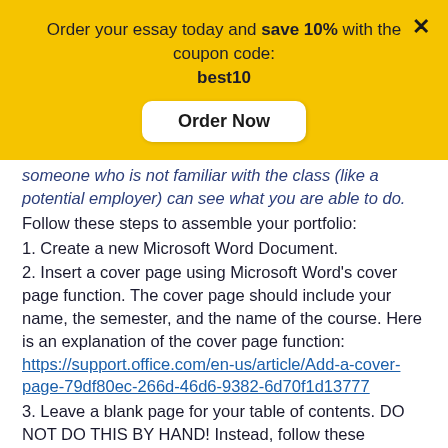Order your essay today and save 10% with the coupon code: best10
Order Now
someone who is not familiar with the class (like a potential employer) can see what you are able to do.
Follow these steps to assemble your portfolio:
1. Create a new Microsoft Word Document.
2. Insert a cover page using Microsoft Word's cover page function. The cover page should include your name, the semester, and the name of the course. Here is an explanation of the cover page function: https://support.office.com/en-us/article/Add-a-cover-page-79df80ec-266d-46d6-9382-6d70f1d13777
3. Leave a blank page for your table of contents. DO NOT DO THIS BY HAND! Instead, follow these directions to insert a table of contents that you can update automatically: https://support.office.com/en-us/article/create-a-table-of-contents-882e8564-0edb-435e-84b5-1d8552ccf0c0#ID0EAABAAA=Windows (Links to an external